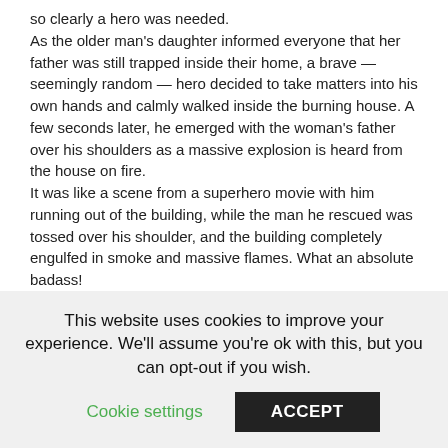so clearly a hero was needed. As the older man's daughter informed everyone that her father was still trapped inside their home, a brave — seemingly random — hero decided to take matters into his own hands and calmly walked inside the burning house. A few seconds later, he emerged with the woman's father over his shoulders as a massive explosion is heard from the house on fire. It was like a scene from a superhero movie with him running out of the building, while the man he rescued was tossed over his shoulder, and the building completely engulfed in smoke and massive flames. What an absolute badass! The hero remains unidentified, but he did undergo a checkup at the hospital to make sure he was unharmed. He's good to
This website uses cookies to improve your experience. We'll assume you're ok with this, but you can opt-out if you wish.
Cookie settings   ACCEPT